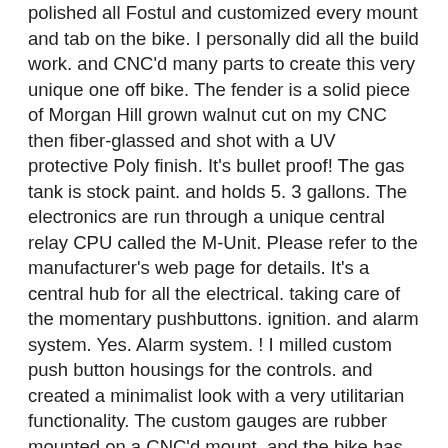polished all Fostul and customized every mount and tab on the bike. I personally did all the build work. and CNC'd many parts to create this very unique one off bike. The fender is a solid piece of Morgan Hill grown walnut cut on my CNC then fiber-glassed and shot with a UV protective Poly finish. It's bullet proof! The gas tank is stock paint. and holds 5. 3 gallons. The electronics are run through a unique central relay CPU called the M-Unit. Please refer to the manufacturer's web page for details. It's a central hub for all the electrical. taking care of the momentary pushbuttons. ignition. and alarm system. Yes. Alarm system. ! I milled custom push button housings for the controls. and created a minimalist look with a very utilitarian functionality. The custom gauges are rubber mounted on a CNC'd mount. and the bike has seen over 4. 00 miles now. It's fast. and sounds incredible. The exhaust is a Mac 4-1 header. and the connector is custom formed to a prototype Cone Engineering exhaust with an 18" straight core minimal baffle. It's comfortable and good looking. I keep this bike indoors and under cover.  I can't go anywhere without getting tons of attention on this bike. It turns heads while on the road. and it brings people out of the woodwork at stops. It's totally trouble free. and will quickly prove that you can take it anywhere. I've had it on long straights for distance travel. and on the curves for fun. It's also equally at home on dirt roads. It does beautifully with